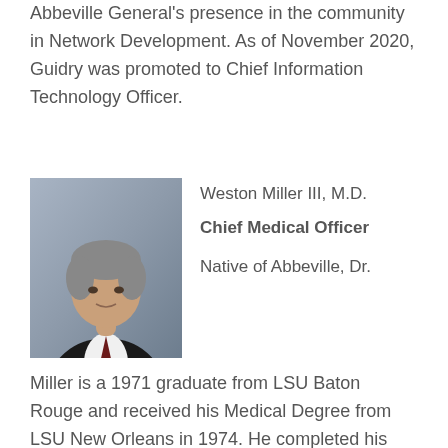Abbeville General's presence in the community in Network Development. As of November 2020, Guidry was promoted to Chief Information Technology Officer.
[Figure (photo): Professional headshot of Weston Miller III, M.D. — a middle-aged man in a dark suit with a dark red tie, gray hair, against a blue-gray background.]
Weston Miller III, M.D.
Chief Medical Officer
Native of Abbeville, Dr. Miller is a 1971 graduate from LSU Baton Rouge and received his Medical Degree from LSU New Orleans in 1974. He completed his